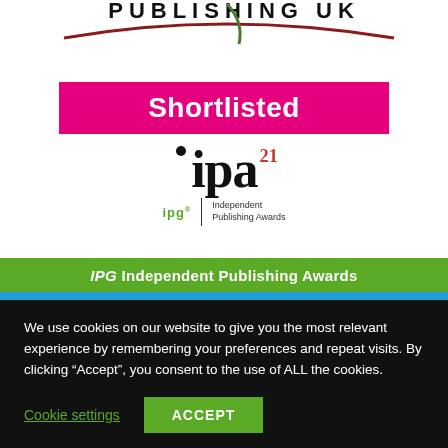[Figure (logo): Partial logo showing 'PUBLISHING UK' text with a decorative curved line/arc graphic in dark red and green]
[Figure (logo): Shortlisted badge in magenta/pink background with white bold text reading 'Shortlisted']
[Figure (logo): IPA21 Independent Publishing Awards logo: large serif 'ipa' text with superscript '21' in red, below it 'ipg' in green with a vertical divider and 'Independent Publishing Awards' text]
IPG Independent Publishing Awards
We use cookies on our website to give you the most relevant experience by remembering your preferences and repeat visits. By clicking “Accept”, you consent to the use of ALL the cookies.
Cookie settings
ACCEPT